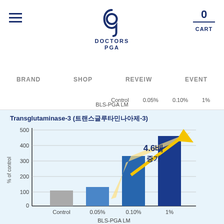DOCTORS PGA — 0 CART
BRAND   SHOP   REVEIW   EVENT
Control   0.05%   0.10%   1%   BLS-PGA LM
Transglutaminase-3 (트랜스글루타민나아제-3)
[Figure (bar-chart): Transglutaminase-3 (트랜스글루타민나아제-3)]